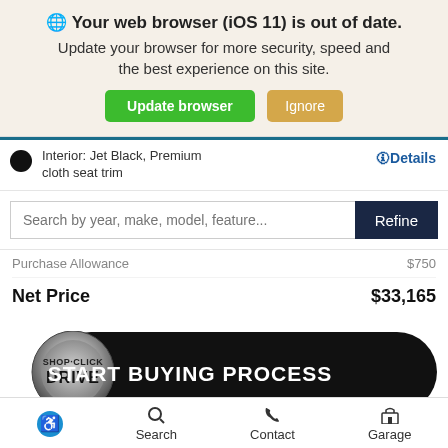🌐 Your web browser (iOS 11) is out of date. Update your browser for more security, speed and the best experience on this site.
Update browser | Ignore
Interior: Jet Black, Premium cloth seat trim
🛈Details
Search by year, make, model, feature...
Refine
Purchase Allowance   $750
Net Price   $33,165
[Figure (logo): Shop-Click Drive START BUYING PROCESS button banner with circular metallic emblem]
Accessibility | Search | Contact | Garage